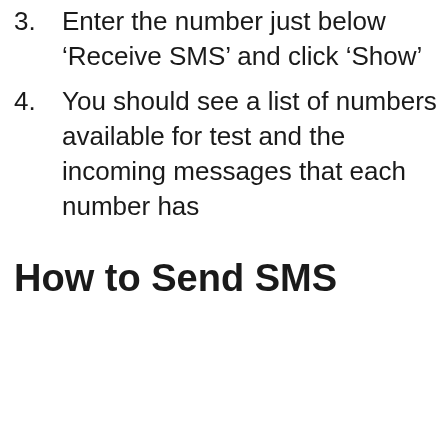3. Enter the number just below 'Receive SMS' and click 'Show'
4. You should see a list of numbers available for test and the incoming messages that each number has
How to Send SMS